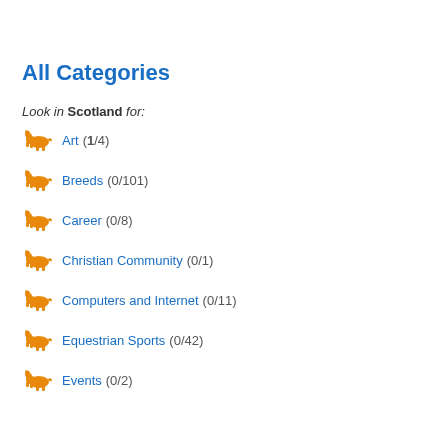All Categories
Look in Scotland for:
Art (1/4)
Breeds (0/101)
Career (0/8)
Christian Community (0/1)
Computers and Internet (0/11)
Equestrian Sports (0/42)
Events (0/2)